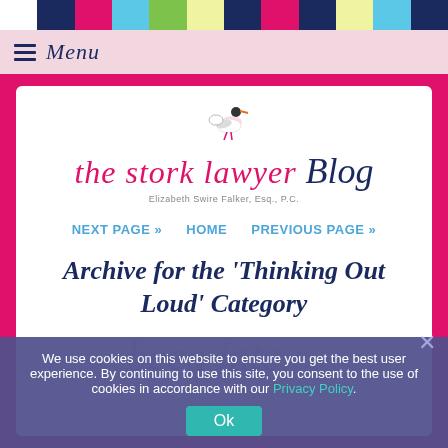[Figure (illustration): Colorful horizontal stripe bar with alternating colors: white, dark blue, magenta, light blue, green, light yellow, dark navy, magenta, dark navy, light yellow, light blue, dark navy]
≡ Menu
[Figure (logo): The Stork Lawyer Blog logo with stork illustration, pink cursive text 'the stork lawyer' and dark blue script 'Blog', tagline 'Elizabeth Swire Falker, Esq., P.C.']
NEXT PAGE »   HOME   PREVIOUS PAGE »
Archive for the 'Thinking Out Loud' Category
We use cookies on this website to ensure you get the best user experience. By continuing to use this site, you consent to the use of cookies in accordance with our Privacy Policy.
Ok